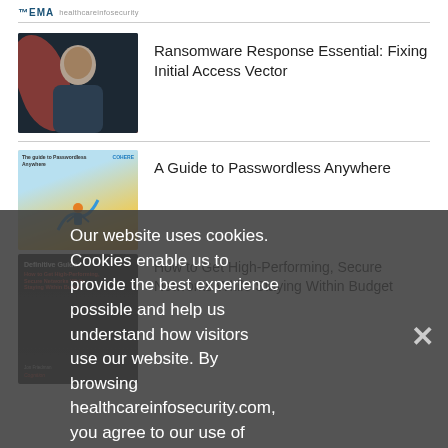EMA | healthcareinfosecurity.com
[Figure (photo): Headshot of a bald man in a dark suit jacket, with pink/red lighting in background]
Ransomware Response Essential: Fixing Initial Access Vector
[Figure (illustration): Cover of guide 'The guide to Passwordless Anywhere' with illustrated characters on a map path]
A Guide to Passwordless Anywhere
[Figure (photo): Cover of Definitive Guide book, dark background with red and white text]
How to Get High-Performing, Secure Networks While Staying Within Budget
Our website uses cookies. Cookies enable us to provide the best experience possible and help us understand how visitors use our website. By browsing healthcareinfosecurity.com, you agree to our use of cookies.